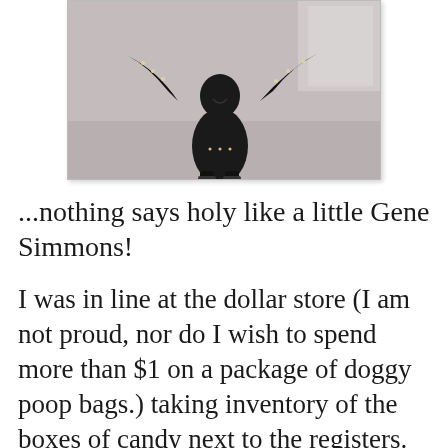[Figure (photo): Photo of a decorative figurine or doll dressed in black with studded accessories, resembling a rock musician in Gene Simmons style, placed on a light-colored surface]
...nothing says holy like a little Gene Simmons!
I was in line at the dollar store (I am not proud, nor do I wish to spend more than $1 on a package of doggy poop bags.) taking inventory of the boxes of candy next to the registers. There I saw, sandwiched between a